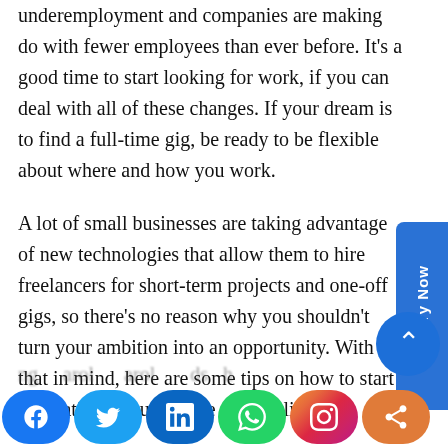underemployment and companies are making do with fewer employees than ever before. It's a good time to start looking for work, if you can deal with all of these changes. If your dream is to find a full-time gig, be ready to be flexible about where and how you work.
A lot of small businesses are taking advantage of new technologies that allow them to hire freelancers for short-term projects and one-off gigs, so there's no reason why you shouldn't turn your ambition into an opportunity. With that in mind, here are some tips on how to start navigating through these new realities:
Step 1: What is nano-jobbing? Nano-jobbing is...